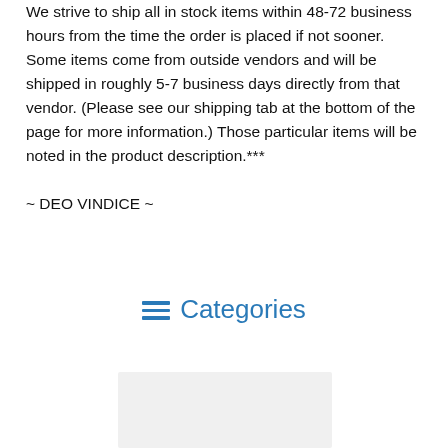We strive to ship all in stock items within 48-72 business hours from the time the order is placed if not sooner. Some items come from outside vendors and will be shipped in roughly 5-7 business days directly from that vendor. (Please see our shipping tab at the bottom of the page for more information.) Those particular items will be noted in the product description.***
~ DEO VINDICE ~
Categories
[Figure (other): Gray placeholder image box at bottom of page]